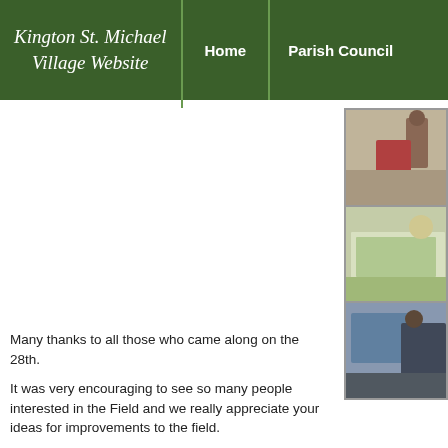Kington St. Michael Village Website — Home | Parish Council
[Figure (photo): Three stacked photos on right side showing people at what appears to be a village meeting or event, including a person in red standing, people around a table with maps/papers, and a seated person at a desk.]
Many thanks to all those who came along on the 28th.
It was very encouraging to see so many people interested in the Field and we really appreciate your ideas for improvements to the field.